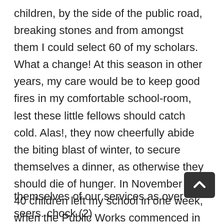children, by the side of the public road, breaking stones and from amongst them I could select 60 of my scholars. What a change! At this season in other years, my care would be to keep good fires in my comfortable school-room, lest these little fellows should catch cold. Alas!, they now cheerfully abide the biting blast of winter, to secure themselves a dinner, as otherwise they should die of hunger. In November last 40 children left my school in one week, when the Public Works commenced in this neighbourhood; and since the opening  of this year I have not had more than five children in attendance on any one day. But, my Lord, what is to be the fate of the unfortunate teachers? Had we, like our pupils abandoned our schools, the officers of the Board of Works would have gladly availed themselves of our services as over seers. chock (2)